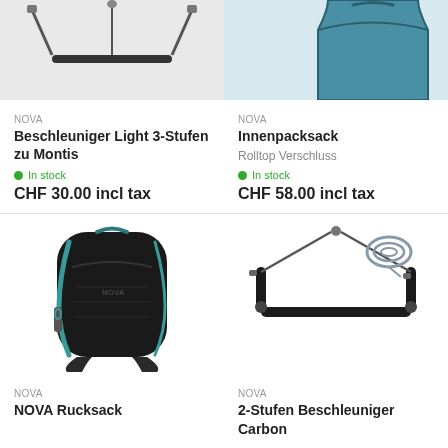[Figure (photo): Partial top image of a paragliding speed bar / accelerator line product - cropped at top]
NOVA
Beschleuniger Light 3-Stufen zu Montis
In stock
CHF 30.00 incl tax
[Figure (photo): Partial top image of a blue inner pack sack - cropped at top]
NOVA
Innenpacksack
Rolltop Verschluss
In stock
CHF 58.00 incl tax
[Figure (photo): Black NOVA rucksack backpack with teal/blue accents]
NOVA
NOVA Rucksack
[Figure (photo): 2-step carbon speed bar/accelerator with black bar, cables and a coiled gray rope]
NOVA
2-Stufen Beschleuniger Carbon